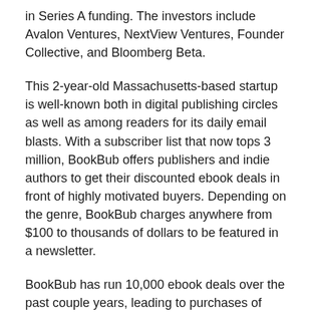in Series A funding. The investors include Avalon Ventures, NextView Ventures, Founder Collective, and Bloomberg Beta.
This 2-year-old Massachusetts-based startup is well-known both in digital publishing circles as well as among readers for its daily email blasts. With a subscriber list that now tops 3 million, BookBub offers publishers and indie authors to get their discounted ebook deals in front of highly motivated buyers. Depending on the genre, BookBub charges anywhere from $100 to thousands of dollars to be featured in a newsletter.
BookBub has run 10,000 ebook deals over the past couple years, leading to purchases of more than one million ebooks per month (as well as downloads of millions of free ebooks). “BookBub’s traction proves it’s filling a huge need for readers, authors, and publishers,” said David Beisel, partner at